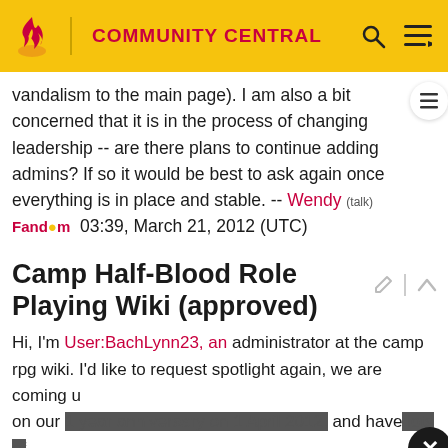COMMUNITY CENTRAL
vandalism to the main page). I am also a bit concerned that it is in the process of changing leadership -- are there plans to continue adding admins? If so it would be best to ask again once everything is in place and stable. -- Wendy (talk) Fandom 03:39, March 21, 2012 (UTC)
Camp Half-Blood Role Playing Wiki (approved)
Hi, I'm User:BachLynn23, an administrator at the camp rpg wiki. I'd like to request spotlight again, we are coming u on our 1 year anniversary on 1 April 2012, and have lots of events still meet all the requirements from the last time we had
BE SAFE (multilingual safety banner)